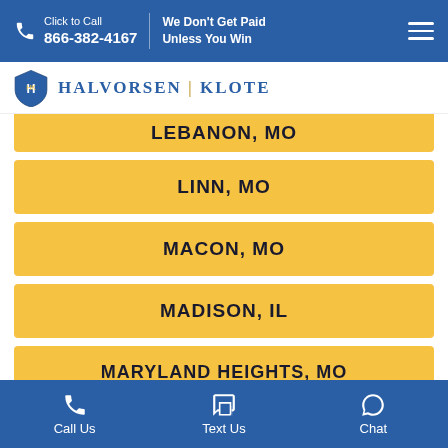Click to Call 866-382-4167 | We Don't Get Paid Unless You Win
[Figure (logo): Halvorsen Klote law firm logo with shield icon]
LEBANON, MO
LINN, MO
MACON, MO
MADISON, IL
MARYLAND HEIGHTS, MO
NEW FLORENCE, MO
Call Us | Text Us | Chat